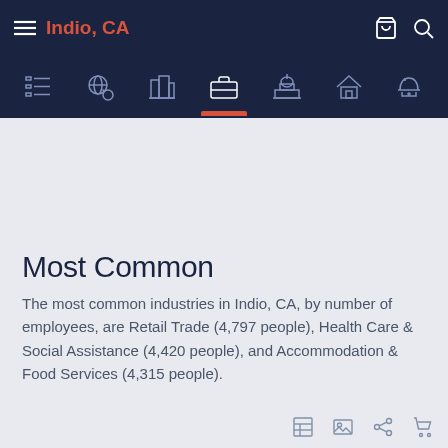Indio, CA
Most Common
The most common industries in Indio, CA, by number of employees, are Retail Trade (4,797 people), Health Care & Social Assistance (4,420 people), and Accommodation & Food Services (4,315 people).